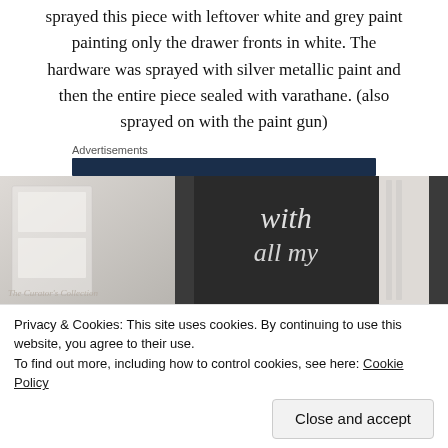sprayed this piece with leftover white and grey paint painting only the drawer fronts in white. The hardware was sprayed with silver metallic paint and then the entire piece sealed with varathane. (also sprayed on with the paint gun)
Advertisements
[Figure (photo): Partial view of a room with white furniture and a chalkboard sign with cursive text reading 'with all my...' with The Curator's Collection watermark]
Privacy & Cookies: This site uses cookies. By continuing to use this website, you agree to their use.
To find out more, including how to control cookies, see here: Cookie Policy
Close and accept